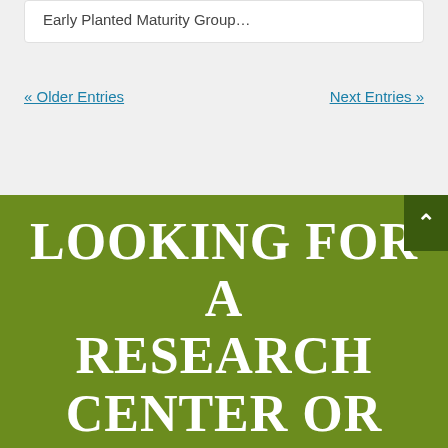Early Planted Maturity Group…
« Older Entries
Next Entries »
LOOKING FOR A RESEARCH CENTER OR UNIT NEAR YOU?